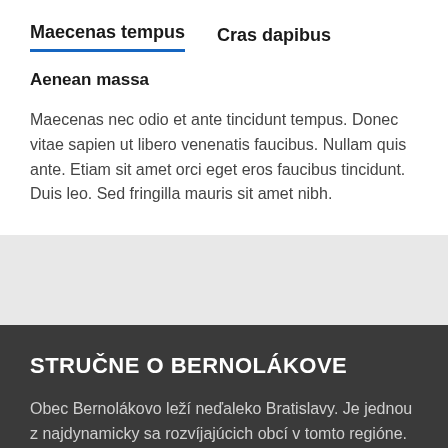Maecenas tempus	Cras dapibus
Aenean massa
Maecenas nec odio et ante tincidunt tempus. Donec vitae sapien ut libero venenatis faucibus. Nullam quis ante. Etiam sit amet orci eget eros faucibus tincidunt. Duis leo. Sed fringilla mauris sit amet nibh.
STRUČNE O BERNOLÁKOVE
Obec Bernolákovo leží neďaleko Bratislavy. Je jednou z najdynamicky sa rozvíjajúcich obcí v tomto regióne.